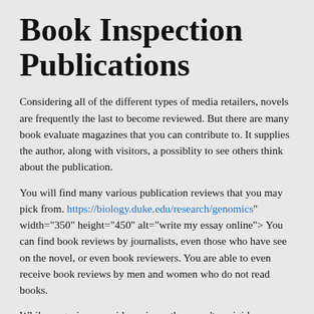Book Inspection Publications
Considering all of the different types of media retailers, novels are frequently the last to become reviewed. But there are many book evaluate magazines that you can contribute to. It supplies the author, along with visitors, a possiblity to see others think about the publication.
You will find many various publication reviews that you may pick from. https://biology.duke.edu/research/genomics" width="350" height="450" alt="write my essay online"> You can find book reviews by journalists, even those who have see on the novel, or even book reviewers. You are able to even receive book reviews by men and women who do not read books.
While magazines provide reviews, they aren't as rigid as magazines offering book evaluations. They can supply some